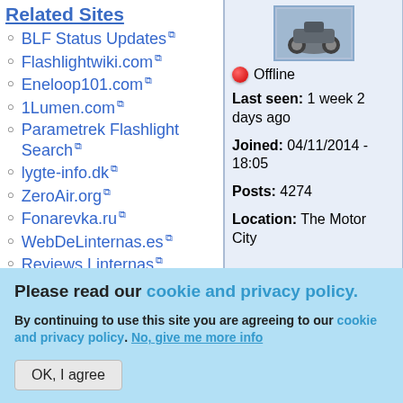Related Sites
BLF Status Updates
Flashlightwiki.com
Eneloop101.com
1Lumen.com
Parametrek Flashlight Search
lygte-info.dk
ZeroAir.org
Fonarevka.ru
WebDeLinternas.es
Reviews Linternas
ForoLinternas.com
[Figure (photo): Profile photo thumbnail showing a motorcycle or vehicle]
Offline
Last seen: 1 week 2 days ago
Joined: 04/11/2014 - 18:05
Posts: 4274
Location: The Motor City
Please read our cookie and privacy policy. By continuing to use this site you are agreeing to our cookie and privacy policy. No, give me more info
OK, I agree